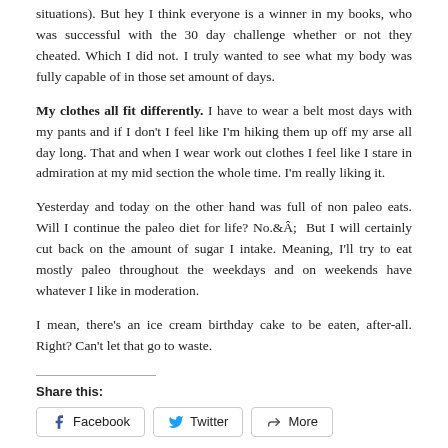situations). But hey I think everyone is a winner in my books, who was successful with the 30 day challenge whether or not they cheated. Which I did not. I truly wanted to see what my body was fully capable of in those set amount of days.
My clothes all fit differently. I have to wear a belt most days with my pants and if I don't I feel like I'm hiking them up off my arse all day long. That and when I wear work out clothes I feel like I stare in admiration at my mid section the whole time. I'm really liking it.
Yesterday and today on the other hand was full of non paleo eats. Will I continue the paleo diet for life? No.Â  But I will certainly cut back on the amount of sugar I intake. Meaning, I'll try to eat mostly paleo throughout the weekdays and on weekends have whatever I like in moderation.
I mean, there’s an ice cream birthday cake to be eaten, after-all. Right? Can't let that go to waste.
Share this:
[Figure (other): Social share buttons: Facebook, Twitter, More]